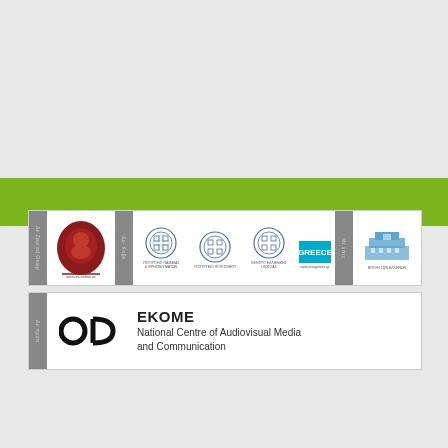[Figure (logo): Green banner strip across the page]
[Figure (logo): Strip of partner logos including Greek ministry seals, Greece tourism logo, and Parliament of Greece logo, separated by gray dividers]
[Figure (logo): EKOME logo with Greek letters OD and text: EKOME National Centre of Audiovisual Media and Communication]